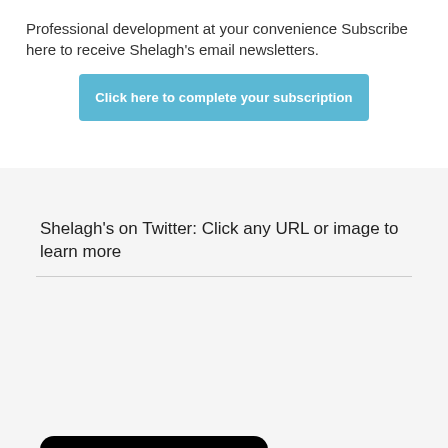Professional development at your convenience Subscribe here to receive Shelagh's email newsletters.
Click here to complete your subscription
Shelagh's on Twitter: Click any URL or image to learn more
[Figure (screenshot): Twitter widget with dark background showing 'Tweets from @ExceptionalEA' header, and a tweet row with Shelagh D... profile photo, @Exc... · 1h handle, and blue Twitter bird icon]